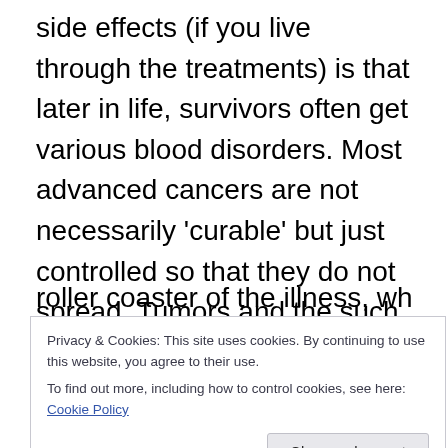side effects (if you live through the treatments) is that later in life, survivors often get various blood disorders. Most advanced cancers are not necessarily 'curable' but just controlled so that they do not spread. Tumors and the such are different, if caught early enough, the cancerous growth is removed and you are done. Our lymphatic system has it's own little superhighway in our bodies and sadly, those evil little cells tend to spread elsewhere. My dad went through many different times where growths came back and truly after so many times of riding the
of death by surviving longer. He has been through so